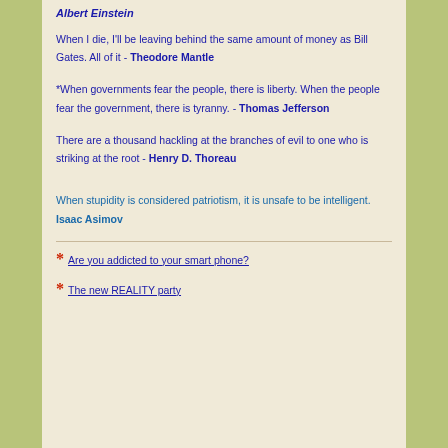Albert Einstein
When I die, I'll be leaving behind the same amount of money as Bill Gates. All of it - Theodore Mantle
*When governments fear the people, there is liberty. When the people fear the government, there is tyranny.  -  Thomas Jefferson
There are a thousand hackling at the branches of evil to one who is striking at the root -  Henry D. Thoreau
When stupidity is considered patriotism, it is unsafe to be intelligent. Isaac Asimov
* Are you addicted to your smart phone?
* The new REALITY party